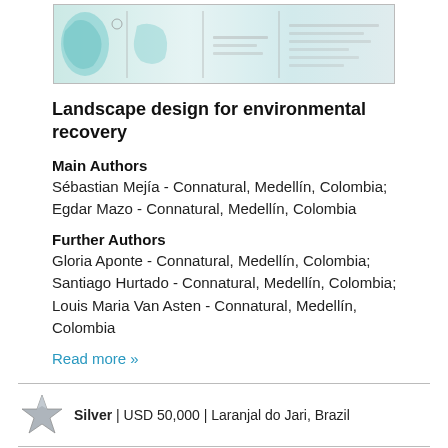[Figure (map): Map/schematic image showing landscape design plans, teal and blue tones, multiple panels]
Landscape design for environmental recovery
Main Authors
Sébastian Mejía - Connatural, Medellín, Colombia; Egdar Mazo - Connatural, Medellín, Colombia
Further Authors
Gloria Aponte - Connatural, Medellín, Colombia; Santiago Hurtado - Connatural, Medellín, Colombia; Louis Maria Van Asten - Connatural, Medellín, Colombia
Read more »
Silver | USD 50,000 | Laranjal do Jari, Brazil
Collective Harvest in Brazil
[Figure (photo): Photograph, bottom of page, partially visible, grey tones]